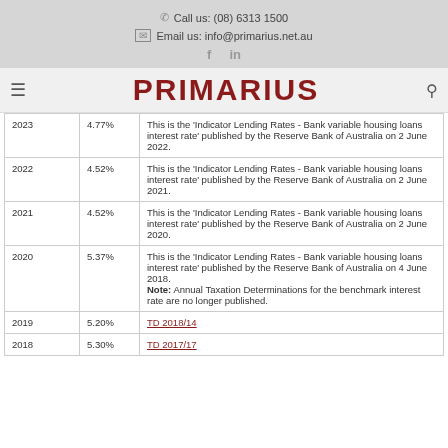Call us: (08) 6313 1500
Email us: info@primarius.net.au
f  in
PRIMARIUS
| Year | Rate | Description |
| --- | --- | --- |
| 2023 | 4.77% | This is the 'Indicator Lending Rates - Bank variable housing loans interest rate' published by the Reserve Bank of Australia on 2 June 2022. |
| 2022 | 4.52% | This is the 'Indicator Lending Rates - Bank variable housing loans interest rate' published by the Reserve Bank of Australia on 2 June 2021. |
| 2021 | 4.52% | This is the 'Indicator Lending Rates - Bank variable housing loans interest rate' published by the Reserve Bank of Australia on 2 June 2020. |
| 2020 | 5.37% | This is the 'Indicator Lending Rates - Bank variable housing loans interest rate' published by the Reserve Bank of Australia on 4 June 2018.
Note: Annual Taxation Determinations for the benchmark interest rate are no longer published. |
| 2019 | 5.20% | TD 2018/14 |
| 2018 | 5.30% | TD 2017/17 |